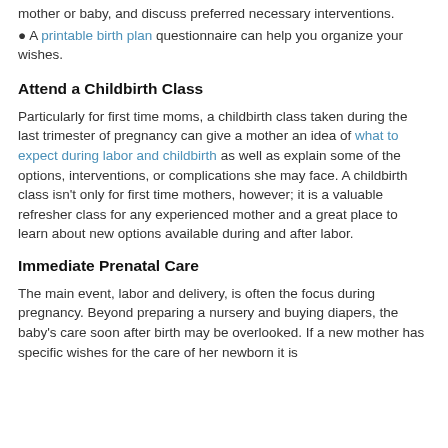mother or baby, and discuss preferred necessary interventions.
• A printable birth plan questionnaire can help you organize your wishes.
Attend a Childbirth Class
Particularly for first time moms, a childbirth class taken during the last trimester of pregnancy can give a mother an idea of what to expect during labor and childbirth as well as explain some of the options, interventions, or complications she may face. A childbirth class isn't only for first time mothers, however; it is a valuable refresher class for any experienced mother and a great place to learn about new options available during and after labor.
Immediate Prenatal Care
The main event, labor and delivery, is often the focus during pregnancy. Beyond preparing a nursery and buying diapers, the baby's care soon after birth may be overlooked. If a new mother has specific wishes for the care of her newborn it is